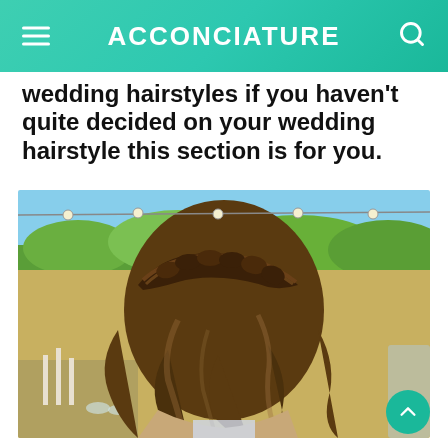ACCONCIATURE
wedding hairstyles if you haven't quite decided on your wedding hairstyle this section is for you.
[Figure (photo): Back view of a woman with a braided half-up hairstyle with loose wavy hair, at an outdoor wedding venue with string lights and greenery in the background.]